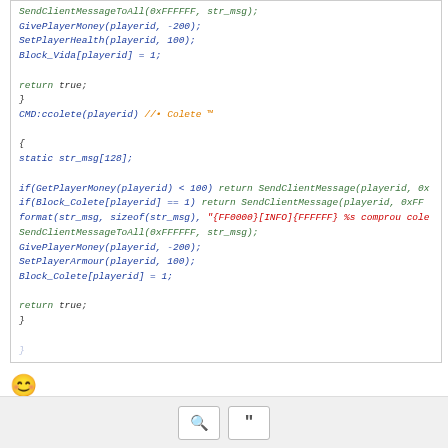[Figure (screenshot): Code block showing PAWN/SA-MP script with colored syntax: CMD:ccolete function with money checks, SendClientMessage calls, GivePlayerMoney, SetPlayerArmour, Block_Colete array assignment, and return true statement.]
😊
Aqui ainda nao vai so pode comprar depois que sair do server e volta ae da :/